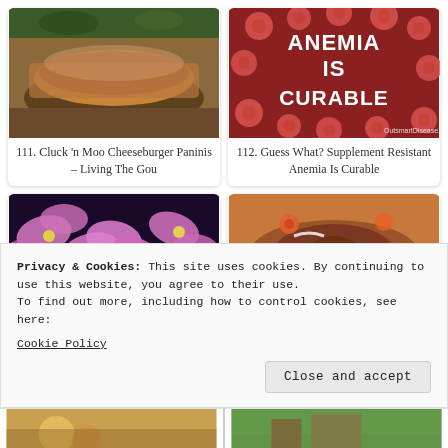[Figure (photo): Photo of a Cluck n Moo Cheeseburger Panini on a wooden surface]
111. Cluck 'n Moo Cheeseburger Paninis – Living The Gou
[Figure (photo): Graphic image with red blood cells and text: ANEMIA IS CURABLE, OutsmartDisease.com]
112. Guess What? Supplement Resistant Anemia Is Curable
[Figure (photo): Close-up photo of pink orchid flowers]
[Figure (photo): Photo of a bundt cake with white icing drizzle]
Privacy & Cookies: This site uses cookies. By continuing to use this website, you agree to their use.
To find out more, including how to control cookies, see here:
Cookie Policy
Close and accept
[Figure (photo): Partial photo of food at bottom left]
[Figure (photo): Partial photo of green outdoor scene at bottom right]